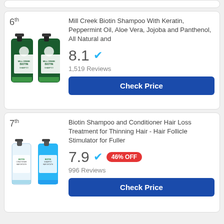6th — Mill Creek Biotin Shampoo With Keratin, Peppermint Oil, Aloe Vera, Jojoba and Panthenol, All Natural and — 8.1 — 1,519 Reviews — Check Price
7th — Biotin Shampoo and Conditioner Hair Loss Treatment for Thinning Hair - Hair Follicle Stimulator for Fuller — 7.9 — 46% OFF — 996 Reviews — Check Price